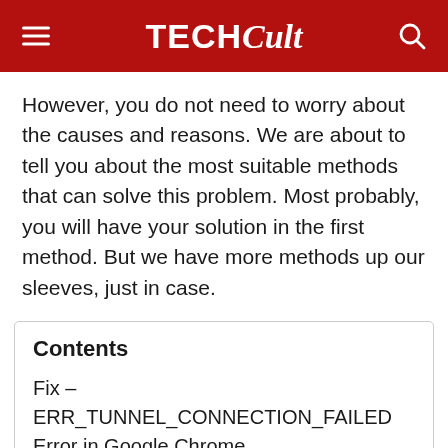TECHCult
However, you do not need to worry about the causes and reasons. We are about to tell you about the most suitable methods that can solve this problem. Most probably, you will have your solution in the first method. But we have more methods up our sleeves, just in case.
Contents
Fix – ERR_TUNNEL_CONNECTION_FAILED Error in Google Chrome
Method 1 – Disable the Proxy Settings